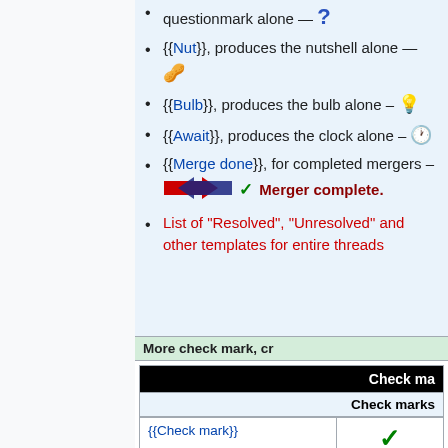questionmark alone — ?
{{Nut}}, produces the nutshell alone — 🥜
{{Bulb}}, produces the bulb alone – 💡
{{Await}}, produces the clock alone – 🕐
{{Merge done}}, for completed mergers – [merge icon] ✓ Merger complete.
List of "Resolved", "Unresolved" and other templates for entire threads
| Check marks |
| --- |
| {{Check mark}} | ✓ |